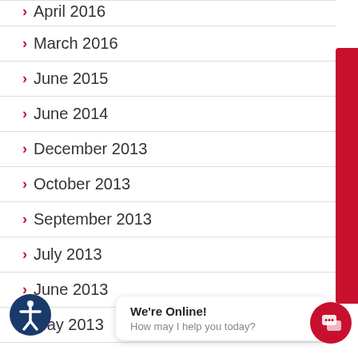> April 2016
> March 2016
> June 2015
> June 2014
> December 2013
> October 2013
> September 2013
> July 2013
> June 2013
> May 2013